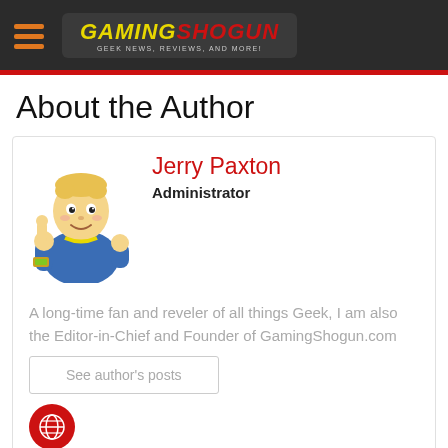[Figure (logo): GamingShogun website header with hamburger menu icon and logo showing 'GAMINGSHOGUN' with tagline 'GEEK NEWS, REVIEWS, AND MORE!']
About the Author
[Figure (illustration): Vault Boy cartoon character giving thumbs up, from Fallout video game series]
Jerry Paxton
Administrator
A long-time fan and reveler of all things Geek, I am also the Editor-in-Chief and Founder of GamingShogun.com
See author's posts
[Figure (other): Red circular social media icon with globe/link symbol]